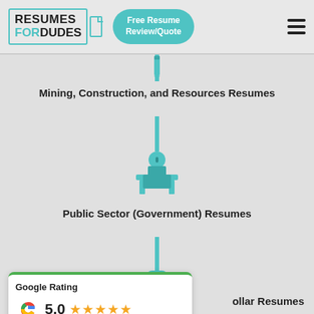[Figure (logo): Resumes For Dudes logo with teal bracket and document icon]
[Figure (other): Free Resume Review/Quote teal pill button]
[Figure (other): Hamburger menu icon (three horizontal bars)]
[Figure (illustration): Teal pencil/tool icon for Mining, Construction, and Resources]
Mining, Construction, and Resources Resumes
[Figure (illustration): Teal government desk icon for Public Sector]
Public Sector (Government) Resumes
[Figure (other): Google Rating card: 5.0 stars, Based on 332 reviews]
ollar Resumes